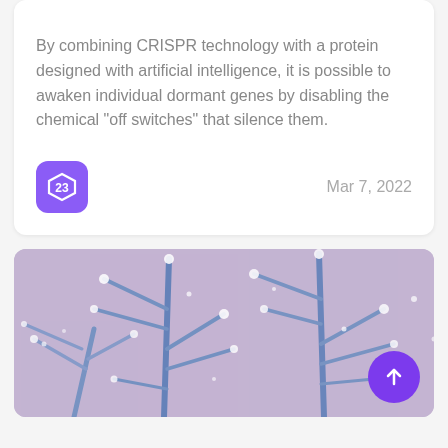By combining CRISPR technology with a protein designed with artificial intelligence, it is possible to awaken individual dormant genes by disabling the chemical "off switches" that silence them.
Mar 7, 2022
[Figure (photo): Close-up photo of frost-covered or crystallized blue-purple plant branches against a pink background, with a purple circular button with an upward arrow in the bottom right corner.]